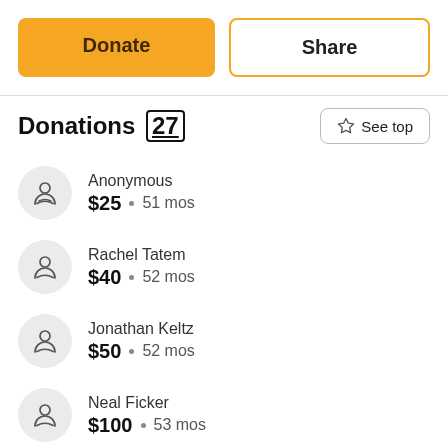[Figure (other): Donate button (yellow/orange filled) and Share button (white with orange border)]
Donations (27)
Anonymous · $25 · 51 mos
Rachel Tatem · $40 · 52 mos
Jonathan Keltz · $50 · 52 mos
Neal Ficker · $100 · 53 mos